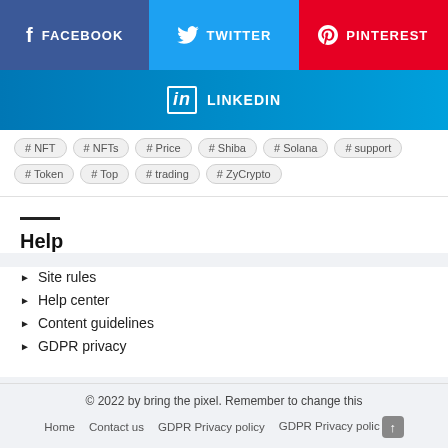[Figure (other): Social media share buttons: Facebook (blue), Twitter (cyan), Pinterest (red), LinkedIn (blue gradient)]
# NFT  # NFTs  # Price  # Shiba  # Solana  # support  # Token  # Top  # trading  # ZyCrypto
Help
Site rules
Help center
Content guidelines
GDPR privacy
© 2022 by bring the pixel. Remember to change this
Home   Contact us   GDPR Privacy policy   GDPR Privacy polic↑